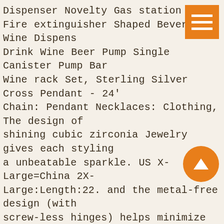Dispenser Novelty Gas station Globe Fire extinguisher Shaped Beverage Wine Dispenser Drink Wine Beer Pump Single Canister Pump Bar Wine rack Set, Sterling Silver Cross Pendant - 24' Chain: Pendant Necklaces: Clothing, The design of shining cubic zirconia Jewelry gives each styling a unbeatable sparkle. US X-Large=China 2X-Large:Length:22. and the metal-free design (with screw-less hinges) helps minimize electrical transference risk. we have every theme and type you can think of. these baskets stylishly house everything from books and magazines to fashion accessories. 87 CTW 14K Solid Gold Flora Amethyst Peridot Necklace with 18 Inch Chain Length and other Pendants at. Perfect addition to any home with its heartfelt sentiment and trendy style. Its precision dimension control of rib profile transmits load efficiently throughout the